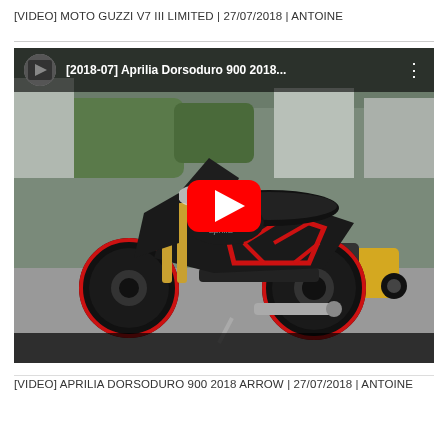[VIDEO] MOTO GUZZI V7 III LIMITED | 27/07/2018 | ANTOINE
[Figure (screenshot): YouTube video thumbnail showing an Aprilia Dorsoduro 900 2018 motorcycle parked on a street, with a red YouTube play button overlay. The video bar at top shows title '[2018-07] Aprilia Dorsoduro 900 2018...' with a channel avatar and three-dots menu.]
[VIDEO] APRILIA DORSODURO 900 2018 ARROW | 27/07/2018 | ANTOINE